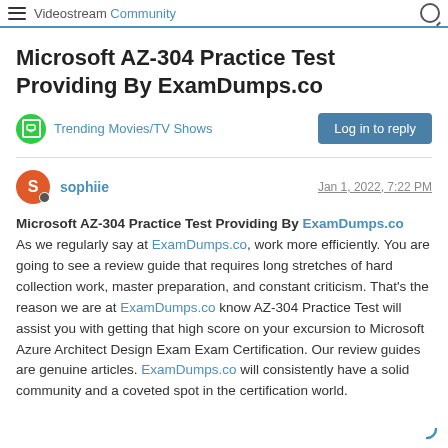Videostream Community
Microsoft AZ-304 Practice Test Providing By ExamDumps.co
Trending Movies/TV Shows
Log in to reply
sophiie — Jan 1, 2022, 7:22 PM
Microsoft AZ-304 Practice Test Providing By ExamDumps.co As we regularly say at ExamDumps.co, work more efficiently. You are going to see a review guide that requires long stretches of hard collection work, master preparation, and constant criticism. That's the reason we are at ExamDumps.co know AZ-304 Practice Test will assist you with getting that high score on your excursion to Microsoft Azure Architect Design Exam Exam Certification. Our review guides are genuine articles. ExamDumps.co will consistently have a solid community and a coveted spot in the certification world.